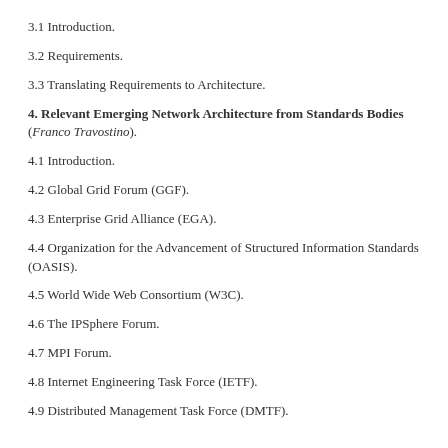3.1 Introduction.
3.2 Requirements.
3.3 Translating Requirements to Architecture.
4. Relevant Emerging Network Architecture from Standards Bodies (Franco Travostino).
4.1 Introduction.
4.2 Global Grid Forum (GGF).
4.3 Enterprise Grid Alliance (EGA).
4.4 Organization for the Advancement of Structured Information Standards (OASIS).
4.5 World Wide Web Consortium (W3C).
4.6 The IPSphere Forum.
4.7 MPI Forum.
4.8 Internet Engineering Task Force (IETF).
4.9 Distributed Management Task Force (DMTF).